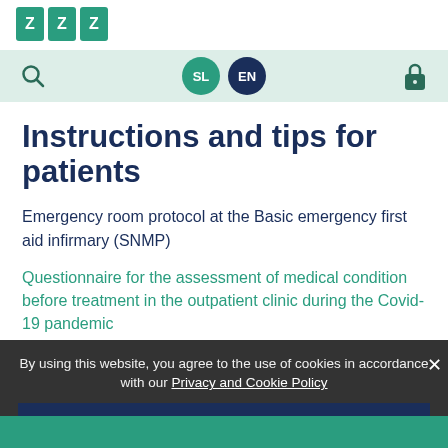ZZZZ logo (SNMP)
[Figure (logo): Green SNMP/ZZZZ organization logo in top left]
[Figure (infographic): Navigation bar with search icon (left), SL and EN language buttons (center), lock icon (right) on light green background]
Instructions and tips for patients
Emergency room protocol at the Basic emergency first aid infirmary (SNMP)
Questionnaire for the assessment of medical condition before treatment in the outpatient clinic during the Covid-19 pandemic
By using this website, you agree to the use of cookies in accordance with our Privacy and Cookie Policy
MOD_COOKIES_SETTINGS_BTN